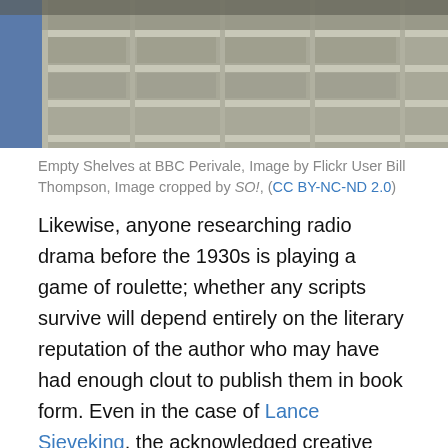[Figure (photo): Photo of empty shelves at BBC Perivale, showing rows of empty white/beige shelving units with a blue element visible on the left side.]
Empty Shelves at BBC Perivale, Image by Flickr User Bill Thompson, Image cropped by SO!, (CC BY-NC-ND 2.0)
Likewise, anyone researching radio drama before the 1930s is playing a game of roulette; whether any scripts survive will depend entirely on the literary reputation of the author who may have had enough clout to publish them in book form.  Even in the case of Lance Sieveking, the acknowledged creative aesthete behind early BBC radio drama, we lack concrete evidence of his most important work, The End of Savoy Hill (1932).  And The Truth About Father Christmas (1923), the first original drama written specifically for British radio?  Forget about it—it was made for children's radio.